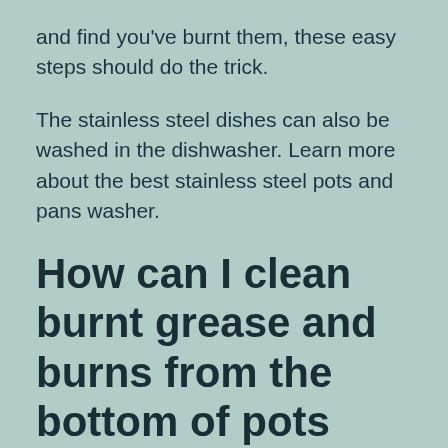and find you've burnt them, these easy steps should do the trick.
The stainless steel dishes can also be washed in the dishwasher. Learn more about the best stainless steel pots and pans washer.
How can I clean burnt grease and burns from the bottom of pots and pans?
It was a popular question from the Clean My